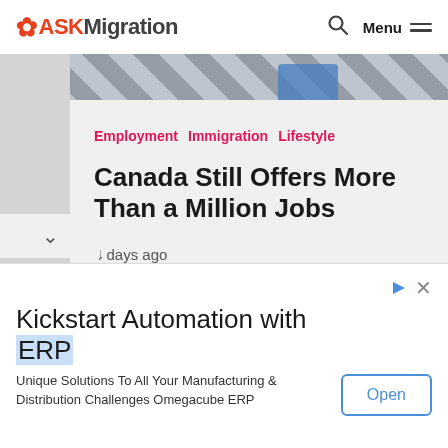ASKMigration  Menu
[Figure (photo): Top-down view of a striped rug and blue furniture/shelving unit, partially visible]
Employment  Immigration  Lifestyle
Canada Still Offers More Than a Million Jobs
4 days ago
[Figure (infographic): Advertisement: Kickstart Automation with ERP – Unique Solutions To All Your Manufacturing & Distribution Challenges Omegacube ERP – Open button]